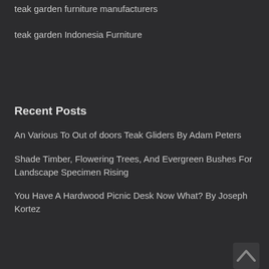teak garden furniture manufacturers
teak garden Indonesia Furniture
Recent Posts
An Various To Out of doors Teak Gliders By Adam Peters
Shade Timber, Flowering Trees, And Evergreen Bushes For Landscape Specimen Rising
You Have A Hardwood Picnic Desk Now What? By Joseph Kortez